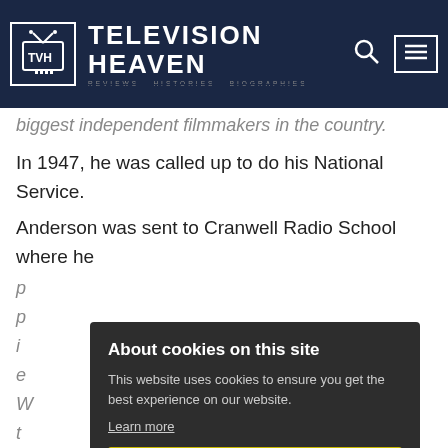TELEVISION HEAVEN
biggest independent filmmakers in the country.
In 1947, he was called up to do his National Service.
Anderson was sent to Cranwell Radio School where he
p...
p...
i...
e...
W...
t...
w...
approach the pilot managed to bring his aircraft down
safely with little injury to himself or his crew. The incident
About cookies on this site
This website uses cookies to ensure you get the best experience on our website.
Learn more
Allow all cookies
Cookie settings